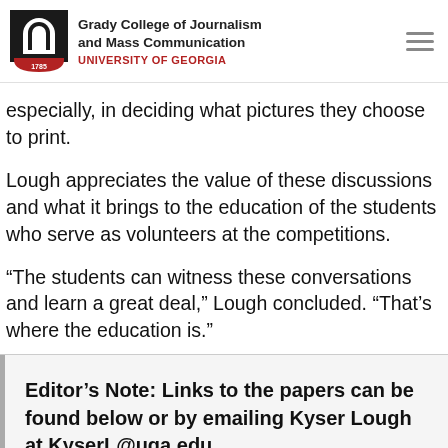Grady College of Journalism and Mass Communication
UNIVERSITY OF GEORGIA
especially, in deciding what pictures they choose to print.
Lough appreciates the value of these discussions and what it brings to the education of the students who serve as volunteers at the competitions.
“The students can witness these conversations and learn a great deal,” Lough concluded. “That’s where the education is.”
Editor’s Note: Links to the papers can be found below or by emailing Kyser Lough at KyserL@uga.edu.